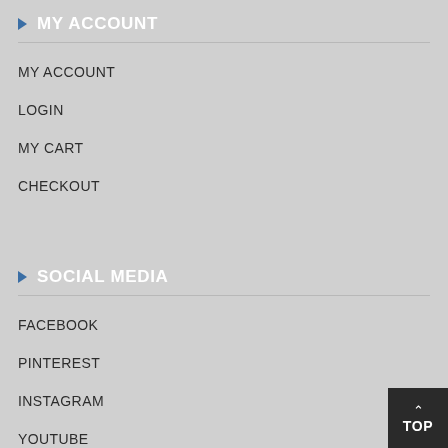MY ACCOUNT
MY ACCOUNT
LOGIN
MY CART
CHECKOUT
SOCIAL MEDIA
FACEBOOK
PINTEREST
INSTAGRAM
YOUTUBE
TOP